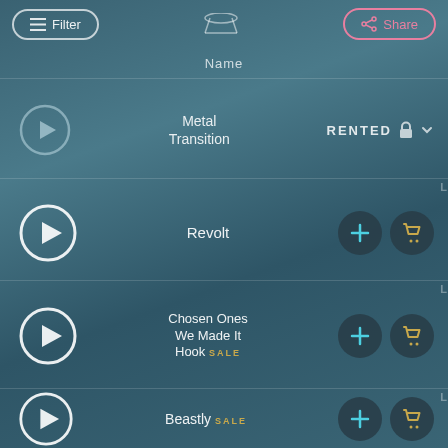[Figure (screenshot): Mobile app UI screenshot showing a music/transitions library with filter and share buttons at top, a 'Name' column header, and three rows: Metal Transition (RENTED), Revolt (with add and cart buttons), Chosen Ones We Made It Hook SALE (with add and cart buttons), and Beastly SALE (with add and cart buttons). Teal/dark background with play buttons on left.]
Filter
Share
Name
Metal Transition
RENTED
Revolt
Chosen Ones We Made It Hook SALE
Beastly SALE